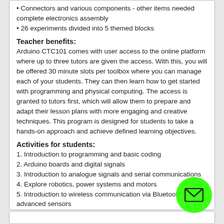Connectors and various components - other items needed complete electronics assembly
26 experiments divided into 5 themed blocks
Teacher benefits:
Arduino CTC101 comes with user access to the online platform where up to three tutors are given the access. With this, you will be offered 30 minute slots per toolbox where you can manage each of your students. They can then learn how to get started with programming and physical computing. The access is granted to tutors first, which will allow them to prepare and adapt their lesson plans with more engaging and creative techniques. This program is designed for students to take a hands-on approach and achieve defined learning objectives.
Activities for students:
1. Introduction to programming and basic coding
2. Arduino boards and digital signals
3. Introduction to analogue signals and serial communications
4. Explore robotics, power systems and motors
5. Introduction to wireless communication via Bluetooth and advanced sensors
6. Extra material is provided to get ready for troubleshooting
After this course, students will be confident enough to create their own projects.